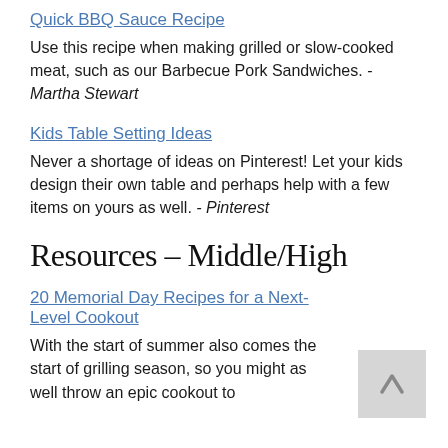Quick BBQ Sauce Recipe
Use this recipe when making grilled or slow-cooked meat, such as our Barbecue Pork Sandwiches. - Martha Stewart
Kids Table Setting Ideas
Never a shortage of ideas on Pinterest! Let your kids design their own table and perhaps help with a few items on yours as well. - Pinterest
Resources – Middle/High
20 Memorial Day Recipes for a Next-Level Cookout
With the start of summer also comes the start of grilling season, so you might as well throw an epic cookout to